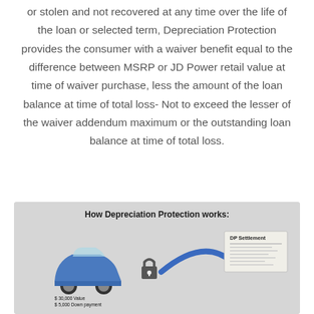or stolen and not recovered at any time over the life of the loan or selected term, Depreciation Protection provides the consumer with a waiver benefit equal to the difference between MSRP or JD Power retail value at time of waiver purchase, less the amount of the loan balance at time of total loss- Not to exceed the lesser of the waiver addendum maximum or the outstanding loan balance at time of total loss.
[Figure (infographic): Infographic titled 'How Depreciation Protection works:' showing a blue car with labels '$30,000 Value' and '$5,000 Down payment', a padlock icon in the center, a blue arrow curving to the right, and a 'DP Settlement' document on the right side.]